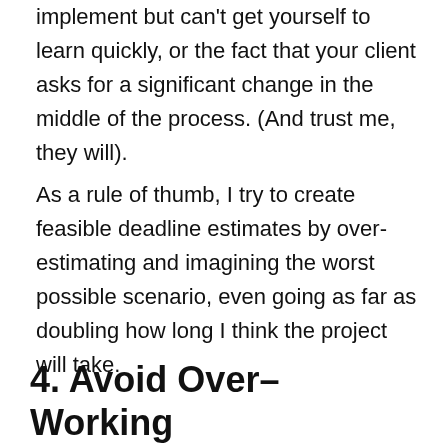implement but can't get yourself to learn quickly, or the fact that your client asks for a significant change in the middle of the process. (And trust me, they will).
As a rule of thumb, I try to create feasible deadline estimates by over-estimating and imagining the worst possible scenario, even going as far as doubling how long I think the project will take.
4. Avoid Over–Working